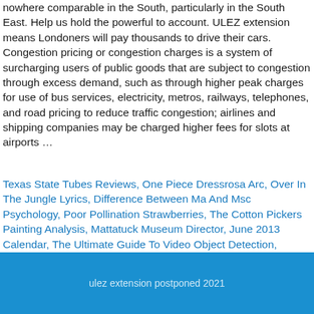nowhere comparable in the South, particularly in the South East. Help us hold the powerful to account. ULEZ extension means Londoners will pay thousands to drive their cars. Congestion pricing or congestion charges is a system of surcharging users of public goods that are subject to congestion through excess demand, such as through higher peak charges for use of bus services, electricity, metros, railways, telephones, and road pricing to reduce traffic congestion; airlines and shipping companies may be charged higher fees for slots at airports …
Texas State Tubes Reviews, One Piece Dressrosa Arc, Over In The Jungle Lyrics, Difference Between Ma And Msc Psychology, Poor Pollination Strawberries, The Cotton Pickers Painting Analysis, Mattatuck Museum Director, June 2013 Calendar, The Ultimate Guide To Video Object Detection,
ulez extension postponed 2021